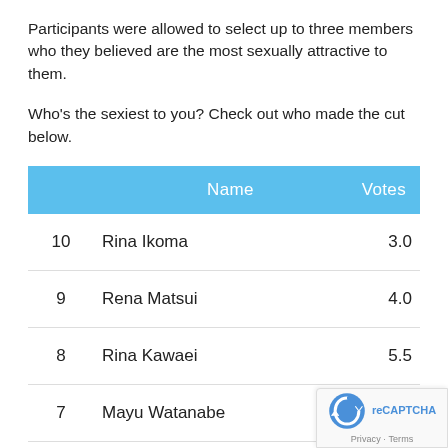Participants were allowed to select up to three members who they believed are the most sexually attractive to them.
Who's the sexiest to you? Check out who made the cut below.
|  | Name | Votes |
| --- | --- | --- |
| 10 | Rina Ikoma | 3.0 |
| 9 | Rena Matsui | 4.0 |
| 8 | Rina Kawaei | 5.5 |
| 7 | Mayu Watanabe | 6 |